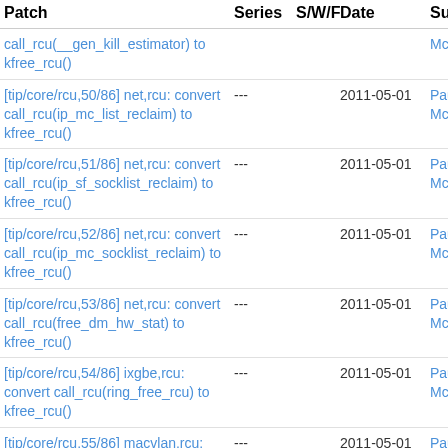| Patch | Series | S/W/F | Date | Sub |
| --- | --- | --- | --- | --- |
| call_rcu(__gen_kill_estimator) to kfree_rcu() |  |  |  | McK |
| [tip/core/rcu,50/86] net,rcu: convert call_rcu(ip_mc_list_reclaim) to kfree_rcu() | --- |  | 2011-05-01 | Paul McK |
| [tip/core/rcu,51/86] net,rcu: convert call_rcu(ip_sf_socklist_reclaim) to kfree_rcu() | --- |  | 2011-05-01 | Paul McK |
| [tip/core/rcu,52/86] net,rcu: convert call_rcu(ip_mc_socklist_reclaim) to kfree_rcu() | --- |  | 2011-05-01 | Paul McK |
| [tip/core/rcu,53/86] net,rcu: convert call_rcu(free_dm_hw_stat) to kfree_rcu() | --- |  | 2011-05-01 | Paul McK |
| [tip/core/rcu,54/86] ixgbe,rcu: convert call_rcu(ring_free_rcu) to kfree_rcu() | --- |  | 2011-05-01 | Paul McK |
| [tip/core/rcu,55/86] macvlan,rcu: convert call_rcu(macvlan_port_rcu_free) to | --- |  | 2011-05-01 | Paul McK |